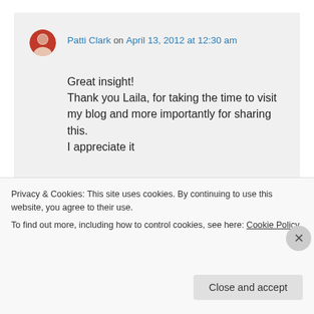Patti Clark on April 13, 2012 at 12:30 am
Great insight!
Thank you Laila, for taking the time to visit my blog and more importantly for sharing this.
I appreciate it
★ Like
↳ Reply
Privacy & Cookies: This site uses cookies. By continuing to use this website, you agree to their use.
To find out more, including how to control cookies, see here: Cookie Policy
Close and accept